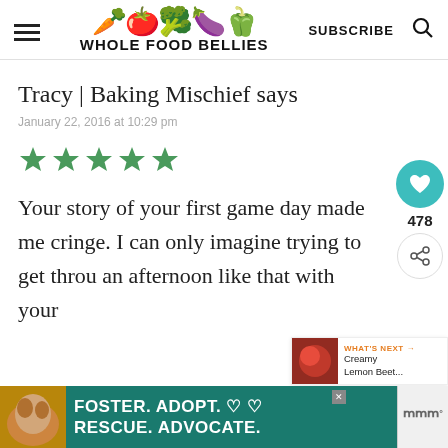WHOLE FOOD BELLIES — SUBSCRIBE
Tracy | Baking Mischief says
January 22, 2016 at 10:29 pm
[Figure (other): Five green star rating icons]
Your story of your first game day made me cringe. I can only imagine trying to get throu an afternoon like that with your
[Figure (other): What's Next widget showing Creamy Lemon Beet...]
[Figure (other): Advertisement banner: FOSTER. ADOPT. RESCUE. ADVOCATE. with dog image]